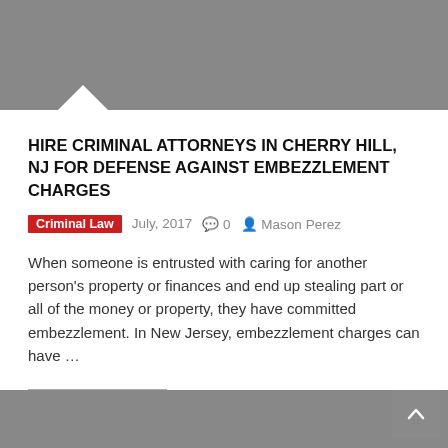HIRE CRIMINAL ATTORNEYS IN CHERRY HILL, NJ FOR DEFENSE AGAINST EMBEZZLEMENT CHARGES
Criminal Law   July, 2017   0   Mason Perez
When someone is entrusted with caring for another person's property or finances and end up stealing part or all of the money or property, they have committed embezzlement. In New Jersey, embezzlement charges can have …
Continue